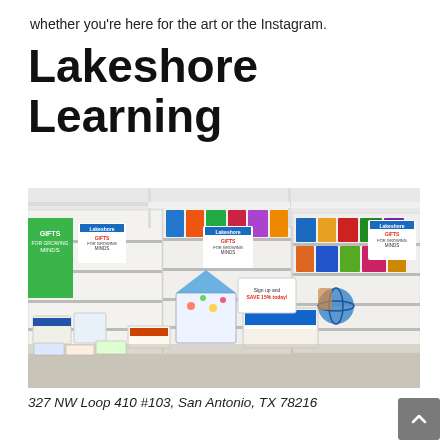whether you're here for the art or the Instagram.
Lakeshore Learning
[Figure (photo): Interior of a Lakeshore Learning store display with shelves stocked with educational toys and games. Multiple 'Gifts for Growing Minds' branded display stands and shelving units are visible. Various boxed toys and children's educational products are on display.]
327 NW Loop 410 #103, San Antonio, TX 78216